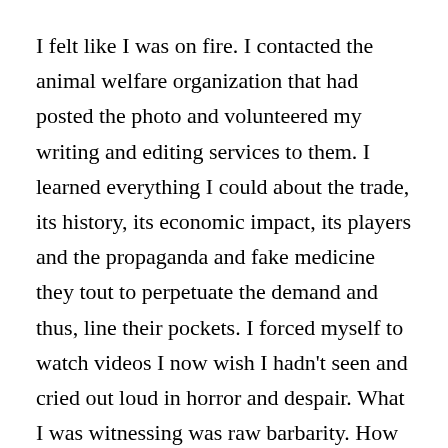I felt like I was on fire. I contacted the animal welfare organization that had posted the photo and volunteered my writing and editing services to them. I learned everything I could about the trade, its history, its economic impact, its players and the propaganda and fake medicine they tout to perpetuate the demand and thus, line their pockets. I forced myself to watch videos I now wish I hadn't seen and cried out loud in horror and despair. What I was witnessing was raw barbarity. How could any human being do such things to another living creature?
My brain haunted with images I couldn't shake, I lay